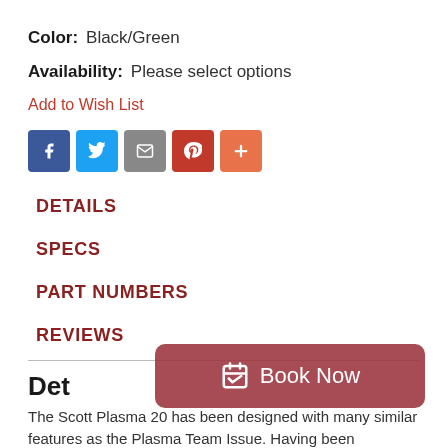Color: Black/Green
Availability: Please select options
Add to Wish List
[Figure (infographic): Social share icons: Facebook (blue), Twitter (light blue), Email (grey), Pinterest (red), More/Plus (orange)]
DETAILS
SPECS
PART NUMBERS
REVIEWS
Det
The Scott Plasma 20 has been designed with many similar features as the Plasma Team Issue. Having been upgraded
[Figure (other): Book Now button overlay with calendar/checkmark icon]